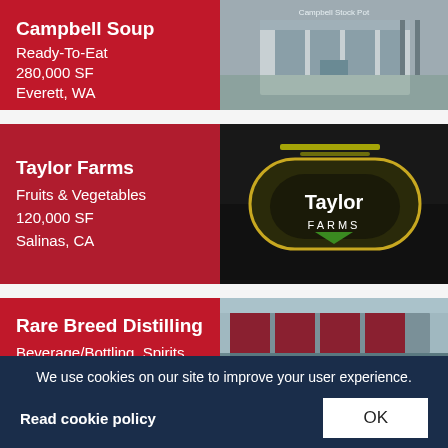Campbell Soup
Ready-To-Eat
280,000 SF
Everett, WA
[Figure (photo): Exterior photo of a Campbell Stock Pot building with stone and wood facade]
Taylor Farms
Fruits & Vegetables
120,000 SF
Salinas, CA
[Figure (photo): Dark photo of Taylor Farms illuminated building sign at night]
Rare Breed Distilling
Beverage/Bottling, Spirits
[Figure (photo): Exterior photo of Rare Breed Distilling building]
We use cookies on our site to improve your user experience.
Read cookie policy
OK